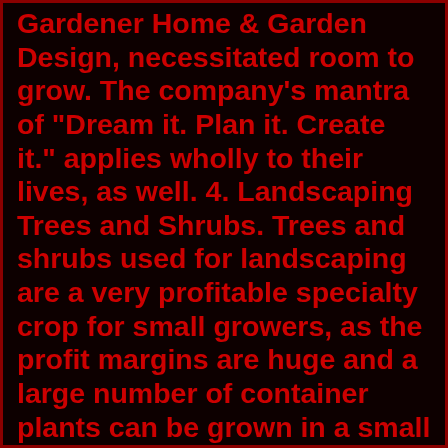Gardener Home & Garden Design, necessitated room to grow. The company's mantra of "Dream it. Plan it. Create it." applies wholly to their lives, as well. 4. Landscaping Trees and Shrubs. Trees and shrubs used for landscaping are a very profitable specialty crop for small growers, as the profit margins are huge and a large number of container plants can be grown in a small area. For example, 1,500 two-gallon potted trees or shrubs can be grown in just 1,000 square feet. With nearly 150 furniture stores / showrooms, we have the buying power to offer quality home furniture at affordable prices. Discover the convenience of online shopping with inviting living rooms, casual and formal dining rooms, and relaxing bedrooms, delivered fast, right to your home. Since the opening of the first store in 1991, Rooms To Go. Space plants 12 to 18 inches apart and plant so the crown is about 1 inch below the soil surface. Water well and mulch with bark or straw to conserve moisture and prevent weeds from growing. Although resilient once established, young transplants should be kept free from weeds